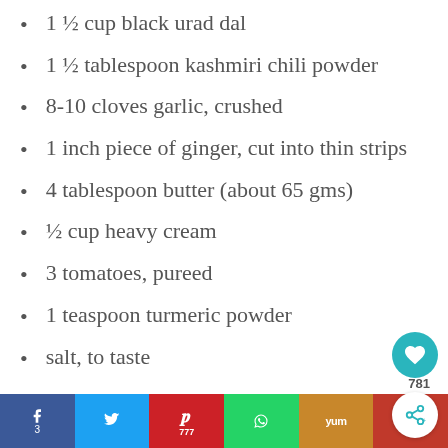1 ½ cup black urad dal
1 ½ tablespoon kashmiri chili powder
8-10 cloves garlic, crushed
1 inch piece of ginger, cut into thin strips
4 tablespoon butter (about 65 gms)
½ cup heavy cream
3 tomatoes, pureed
1 teaspoon turmeric powder
salt, to taste